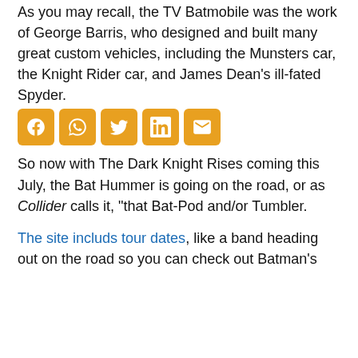As you may recall, the TV Batmobile was the work of George Barris, who designed and built many great custom vehicles, including the Munsters car, the Knight Rider car, and James Dean's ill-fated Spyder.
[Figure (other): Social sharing icon buttons: Facebook, WhatsApp, Twitter, LinkedIn, Email — orange rounded square icons]
So now with The Dark Knight Rises coming this July, the Bat Hummer is going on the road, or as Collider calls it, “that Bat-Pod and/or Tumbler.
The site includs tour dates, like a band heading out on the road so you can check out Batman's